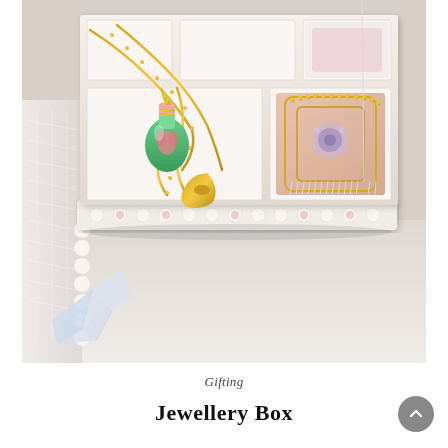[Figure (photo): A white decorative jewelry box with compartments, containing gold chain necklaces, a green enamel perfume bottle charm, a beaded decorative piece on a peach-colored card, and other jewelry items. The box sits on a white surface with lace fabric visible on the left side.]
Gifting
Jewellery Box